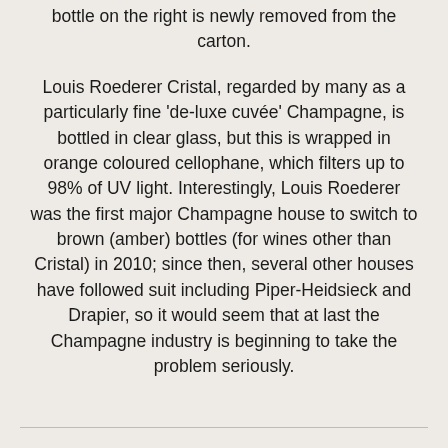bottle on the right is newly removed from the carton.
Louis Roederer Cristal, regarded by many as a particularly fine 'de-luxe cuvée' Champagne, is bottled in clear glass, but this is wrapped in orange coloured cellophane, which filters up to 98% of UV light. Interestingly, Louis Roederer was the first major Champagne house to switch to brown (amber) bottles (for wines other than Cristal) in 2010; since then, several other houses have followed suit including Piper-Heidsieck and Drapier, so it would seem that at last the Champagne industry is beginning to take the problem seriously.